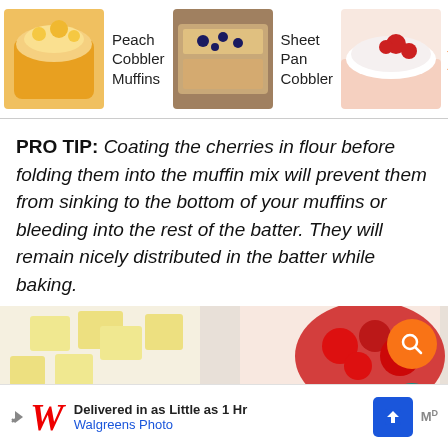[Figure (photo): Top navigation strip with recipe thumbnails: Peach Cobbler Muffins, Sheet Pan Cobbler, and a partially visible third item with a search/next button]
PRO TIP: Coating the cherries in flour before folding them into the muffin mix will prevent them from sinking to the bottom of your muffins or bleeding into the rest of the batter. They will remain nicely distributed in the batter while baking.
[Figure (photo): Instructional food photo showing butter cubes, cherry mixture, and muffin pan with text overlay: DIVIDE BATTER BETWEEN 12 MUFFIN CUPS. Floating action buttons on right: orange search, teal heart with 6.8K, grey share.]
[Figure (screenshot): Advertisement banner for Walgreens Photo: Delivered in as Little as 1 Hr, Walgreens Photo, with blue arrow navigation icon]